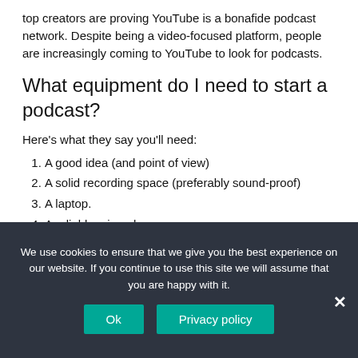top creators are proving YouTube is a bonafide podcast network. Despite being a video-focused platform, people are increasingly coming to YouTube to look for podcasts.
What equipment do I need to start a podcast?
Here's what they say you'll need:
A good idea (and point of view)
A solid recording space (preferably sound-proof)
A laptop.
A reliable microphone.
A mixer.
Recording software.
A pair of noise-cancelling headphones.
We use cookies to ensure that we give you the best experience on our website. If you continue to use this site we will assume that you are happy with it.